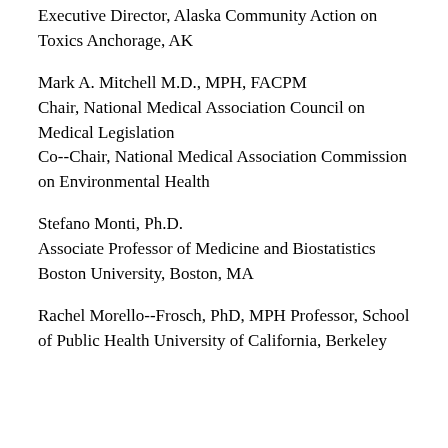Executive Director, Alaska Community Action on Toxics Anchorage, AK
Mark A. Mitchell M.D., MPH, FACPM
Chair, National Medical Association Council on Medical Legislation
Co--Chair, National Medical Association Commission on Environmental Health
Stefano Monti, Ph.D.
Associate Professor of Medicine and Biostatistics
Boston University, Boston, MA
Rachel Morello--Frosch, PhD, MPH Professor, School of Public Health University of California, Berkeley